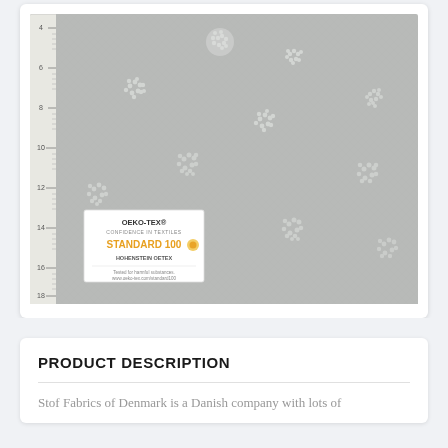[Figure (photo): Gray fabric with white dot/circle floral pattern, shown with a ruler on the left side measuring from 4 to 18+. An OEKO-TEX STANDARD 100 certification label is visible in the lower left corner of the fabric.]
PRODUCT DESCRIPTION
Stof Fabrics of Denmark is a Danish company with lots of